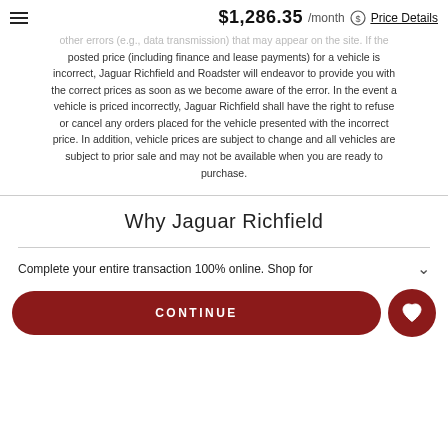$1,286.35 /month Price Details
other errors (e.g., data transmission) that may appear on the site. If the posted price (including finance and lease payments) for a vehicle is incorrect, Jaguar Richfield and Roadster will endeavor to provide you with the correct prices as soon as we become aware of the error. In the event a vehicle is priced incorrectly, Jaguar Richfield shall have the right to refuse or cancel any orders placed for the vehicle presented with the incorrect price. In addition, vehicle prices are subject to change and all vehicles are subject to prior sale and may not be available when you are ready to purchase.
Why Jaguar Richfield
Complete your entire transaction 100% online. Shop for
CONTINUE